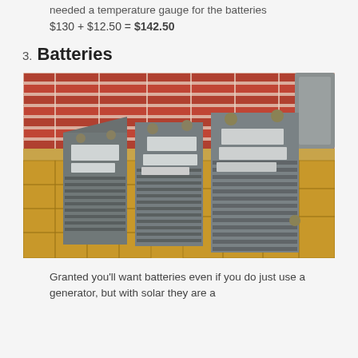needed a temperature gauge for the batteries
3. Batteries
[Figure (photo): Three large grey sealed lead-acid batteries stacked/arranged on a parquet wood floor against a red brick wall. The batteries have terminal bolts on top and ventilation slots on the sides.]
Granted you'll want batteries even if you do just use a generator, but with solar they are a